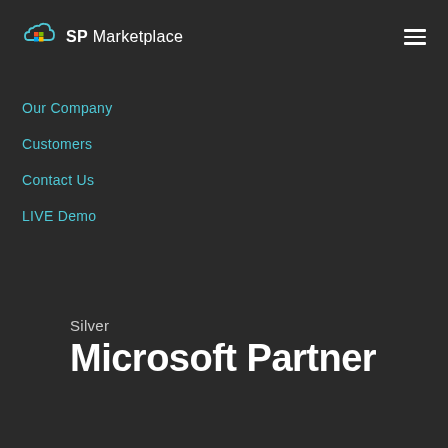[Figure (logo): SP Marketplace logo with cloud icon and colorful grid icon]
Our Company
Customers
Contact Us
LIVE Demo
Silver
Microsoft Partner